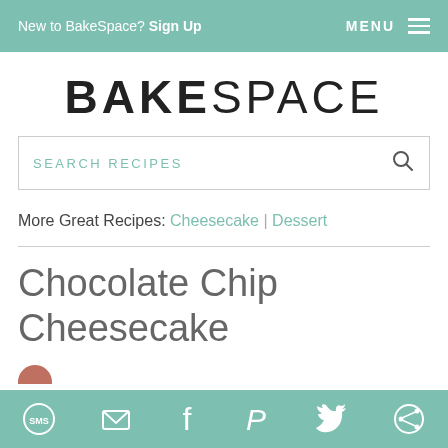New to BakeSpace? Sign Up  MENU
BAKESPACE
SEARCH RECIPES
More Great Recipes: Cheesecake | Dessert
Chocolate Chip Cheesecake
SMS Email Facebook Pinterest Twitter Other